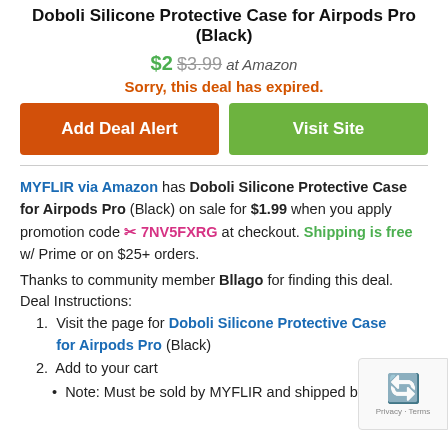Doboli Silicone Protective Case for Airpods Pro (Black)
$2 $3.99 at Amazon
Sorry, this deal has expired.
Add Deal Alert
Visit Site
MYFLIR via Amazon has Doboli Silicone Protective Case for Airpods Pro (Black) on sale for $1.99 when you apply promotion code 7NV5FXRG at checkout. Shipping is free w/ Prime or on $25+ orders.
Thanks to community member Bllago for finding this deal.
Deal Instructions:
Visit the page for Doboli Silicone Protective Case for Airpods Pro (Black)
Add to your cart
Note: Must be sold by MYFLIR and shipped by Amazon